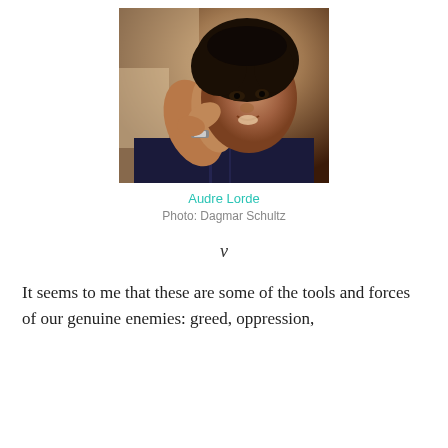[Figure (photo): Portrait photograph of Audre Lorde, a Black woman with natural curly hair, smiling and leaning forward with hands clasped near her face, wearing a dark striped shirt and a watch. Photo credit: Dagmar Schultz.]
Audre Lorde
Photo: Dagmar Schultz
v
It seems to me that these are some of the tools and forces of our genuine enemies: greed, oppression,